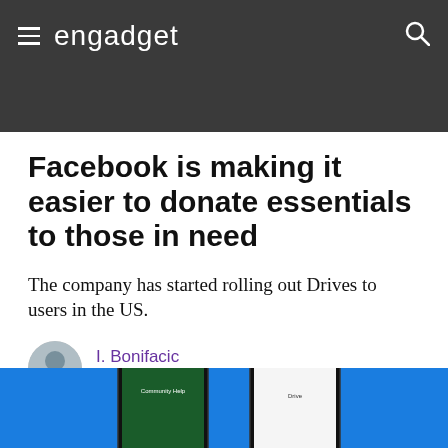engadget
Facebook is making it easier to donate essentials to those in need
The company has started rolling out Drives to users in the US.
I. Bonifacic
11.23.20
[Figure (screenshot): Hero image showing two smartphones with Facebook Community Help and Drive screens on a blue background]